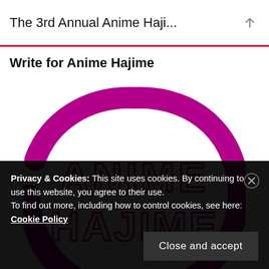The 3rd Annual Anime Haji...
Write for Anime Hajime
[Figure (logo): Anime Hajime logo: large magenta/purple brushstroke circle with bold outlined text 'ANIME HAJIME' in the center]
Privacy & Cookies: This site uses cookies. By continuing to use this website, you agree to their use.
To find out more, including how to control cookies, see here: Cookie Policy